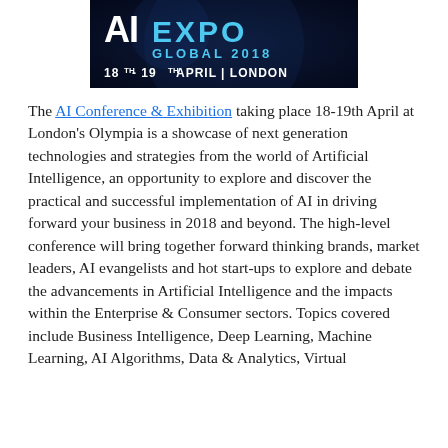[Figure (logo): AI Expo Global 2018 banner. Dark blue/navy background with 'AI EXPO GLOBAL 2018' logo text in white and cyan blue, and '18TH - 19TH APRIL | LONDON' below in white.]
The AI Conference & Exhibition taking place 18-19th April at London's Olympia is a showcase of next generation technologies and strategies from the world of Artificial Intelligence, an opportunity to explore and discover the practical and successful implementation of AI in driving forward your business in 2018 and beyond. The high-level conference will bring together forward thinking brands, market leaders, AI evangelists and hot start-ups to explore and debate the advancements in Artificial Intelligence and the impacts within the Enterprise & Consumer sectors. Topics covered include Business Intelligence, Deep Learning, Machine Learning, AI Algorithms, Data & Analytics, Virtual Assistants & Chatbots, as well as many others.